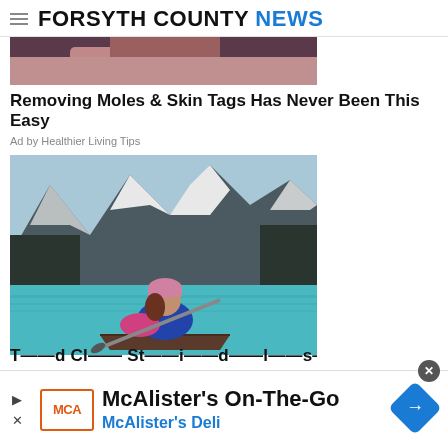FORSYTH COUNTY NEWS
[Figure (photo): Cropped photo showing a person's face, partially visible, dark hair]
Removing Moles & Skin Tags Has Never Been This Easy
Ad by Healthier Living Tips
[Figure (photo): Woman in pink hat and blue jacket kayaking on a turquoise mountain lake with snow-capped peaks in background]
T...l...d Cl... St...i...d...l...s...e Th...
[Figure (infographic): Bottom advertisement banner: McAlister's On-The-Go, McAlister's Deli, with MCA logo and navigation diamond icon]